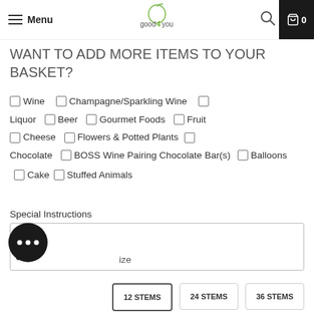Menu | good4you | 0
WANT TO ADD MORE ITEMS TO YOUR BASKET?
Wine
Champagne/Sparkling Wine
Liquor
Beer
Gourmet Foods
Fruit
Cheese
Flowers & Potted Plants
Chocolate
BOSS Wine Pairing Chocolate Bar(s)
Balloons
Cake
Stuffed Animals
Special Instructions
Size
12 STEMS  24 STEMS  36 STEMS